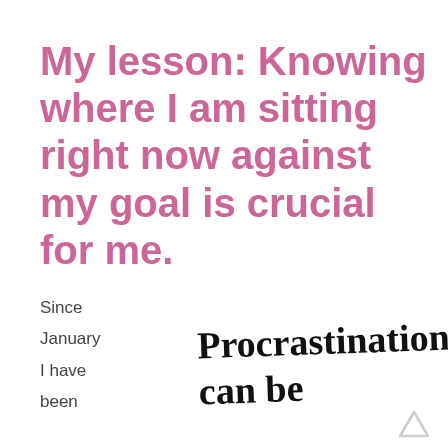My lesson: Knowing where I am sitting right now against my goal is crucial for me.
Since
January
I have
been
Procrastination can be